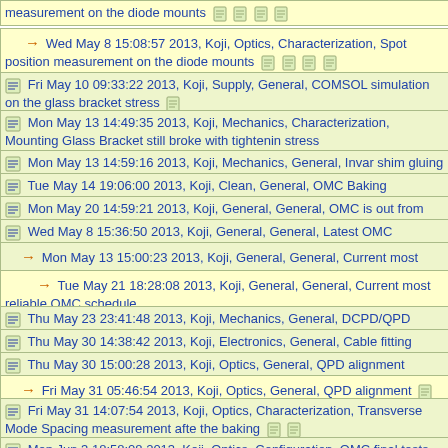measurement on the diode mounts [attachments]
→ Wed May 8 15:08:57 2013, Koji, Optics, Characterization, Spot position measurement on the diode mounts [attachments]
Fri May 10 09:33:22 2013, Koji, Supply, General, COMSOL simulation on the glass bracket stress [attachment]
Mon May 13 14:49:35 2013, Koji, Mechanics, Characterization, Mounting Glass Bracket still broke with tightenin stress
Mon May 13 14:59:16 2013, Koji, Mechanics, General, Invar shim gluing
Tue May 14 19:06:00 2013, Koji, Clean, General, OMC Baking
Mon May 20 14:59:21 2013, Koji, General, General, OMC is out from the oven
Wed May 8 15:36:50 2013, Koji, General, General, Latest OMC schedule
→ Mon May 13 15:00:23 2013, Koji, General, General, Current most reliable OMC schedule
→ Tue May 21 18:28:08 2013, Koji, General, General, Current most reliable OMC schedule
Thu May 23 23:41:48 2013, Koji, Mechanics, General, DCPD/QPD Mount
Thu May 30 14:38:42 2013, Koji, Electronics, General, Cable fitting
Thu May 30 15:00:28 2013, Koji, Optics, General, QPD alignment
→ Fri May 31 05:46:54 2013, Koji, Optics, General, QPD alignment [attachments]
Fri May 31 14:07:54 2013, Koji, Optics, Characterization, Transverse Mode Spacing measurement afte the baking [attachments]
Mon Jun 3 18:58:08 2013, Koji, Optics, Configuration, OMC final tests